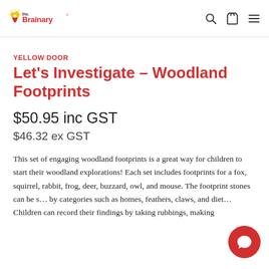the Brainary [logo] [search icon] [bag icon] [menu icon]
YELLOW DOOR
Let's Investigate – Woodland Footprints
$50.95 inc GST
$46.32 ex GST
This set of engaging woodland footprints is a great way for children to start their woodland explorations! Each set includes footprints for a fox, squirrel, rabbit, frog, deer, buzzard, owl, and mouse. The footprint stones can be s... by categories such as homes, feathers, claws, and diet... Children can record their findings by taking rubbings, making